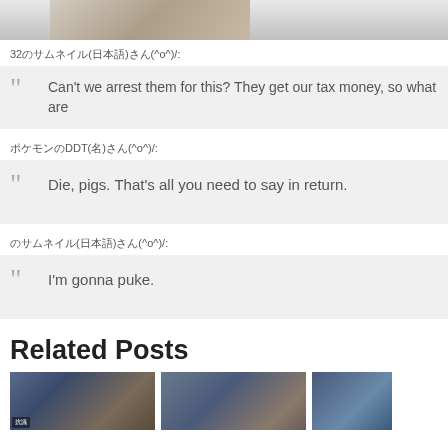[Figure (photo): Partial top image showing a person, cropped]
32のサムネイル(日本語)さん(^o^)/:
Can't we arrest them for this? They get our tax money, so what are
ポケモンのDDT(名)さん(^o^)/:
Die, pigs. That's all you need to say in return.
のサムネイル(日本語)さん(^o^)/:
I'm gonna puke.
Related Posts
[Figure (photo): Thumbnail image 1 - crowd with signs]
[Figure (photo): Thumbnail image 2 - assembly hall]
[Figure (photo): Thumbnail image 3 - partial]